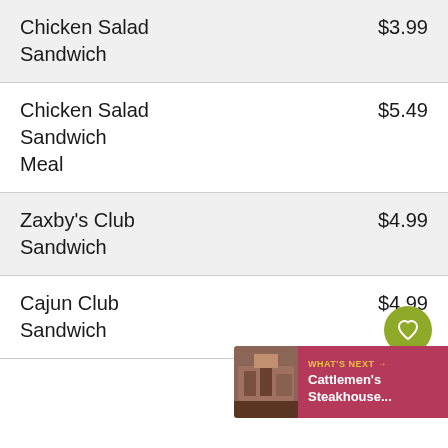| Item | Price |
| --- | --- |
| Chicken Salad Sandwich | $3.99 |
| Chicken Salad Sandwich Meal | $5.49 |
| Zaxby's Club Sandwich | $4.99 |
| Cajun Club Sandwich | $4.99 |
WHAT'S NEXT → Cattlemen's Steakhouse...